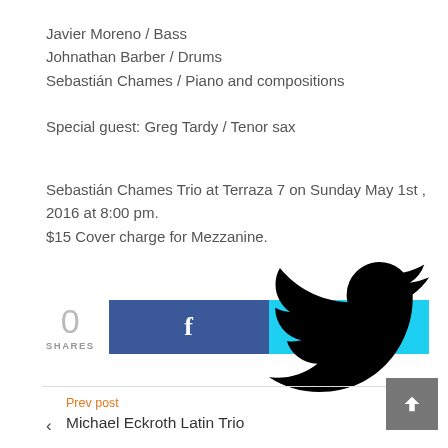Javier Moreno / Bass
Johnathan Barber / Drums
Sebastián Chames / Piano and compositions
Special guest: Greg Tardy / Tenor sax
Sebastián Chames Trio at Terraza 7 on Sunday May 1st , 2016 at 8:00 pm.
$15 Cover charge for Mezzanine.
[Figure (infographic): Social share count showing 0 SHARES, with Facebook (blue) and Twitter (light blue) share buttons]
Prev post
Michael Eckroth Latin Trio